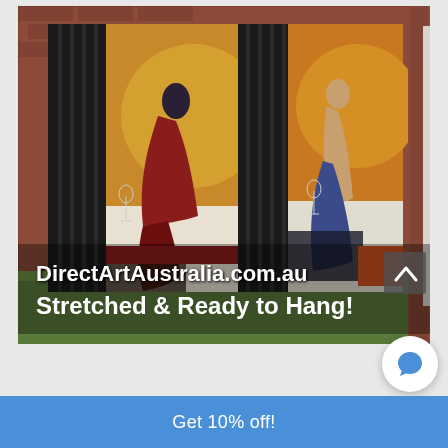[Figure (photo): Two large canvas paintings leaning against a red brick wall outdoors on grass. Left painting shows a woman in a dark red/maroon flowing dress seated. Right painting shows a woman in a dark blue flowing dress. Both have abstract art deco style with bold geometric forms and warm golden tones. Text overlaid on bottom of image reads: DirectArtAustralia.com.au / Stretched & Ready to Hang!]
Get 10% off!